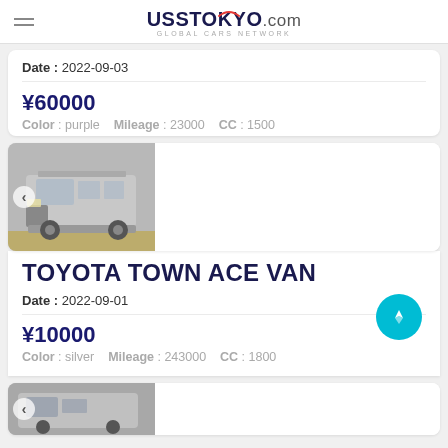USS TOKYO.COM — GLOBAL CARS NETWORK
Date : 2022-09-03
¥60000 | Color : purple  Mileage : 23000  CC : 1500
[Figure (photo): Silver Toyota Town Ace Van photographed in auction yard]
TOYOTA TOWN ACE VAN
Date : 2022-09-01
¥10000 | Color : silver  Mileage : 243000  CC : 1800
[Figure (photo): Partial view of silver van at bottom of page]